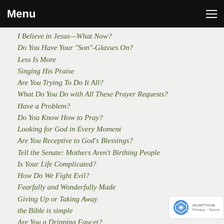Menu
I Believe in Jesus—What Now?
Do You Have Your "Son"-Glasses On?
Less Is More
Singing His Praise
Are You Trying To Do It All?
What Do You Do with All These Prayer Requests?
Have a Problem?
Do You Know How to Pray?
Looking for God in Every Moment
Are You Receptive to God's Blessings?
Tell the Senate: Mothers Aren't Birthing People
Is Your Life Complicated?
How Do We Fight Evil?
Fearfully and Wonderfully Made
Giving Up or Taking Away
the Bible is simple
Are You a Dripping Faucet?
What's Your Testimony?
The Final Move